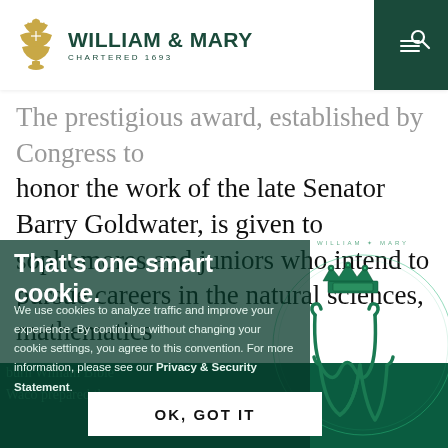WILLIAM & MARY CHARTERED 1693
The prestigious award, established by Congress to honor the work of the late Senator Barry Goldwater, is given to sophomores and juniors who intend to pursue careers in the natural sciences, mathematics
That's one smart cookie.
We use cookies to analyze traffic and improve your experience. By continuing without changing your cookie settings, you agree to this convention. For more information, please see our Privacy & Security Statement.
[Figure (logo): William & Mary royal cipher/seal in green tones]
OK, GOT IT